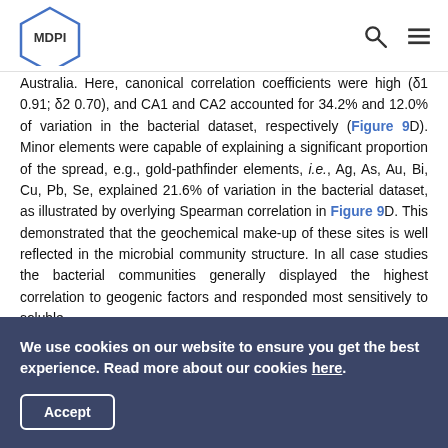MDPI
Australia. Here, canonical correlation coefficients were high (δ1 0.91; δ2 0.70), and CA1 and CA2 accounted for 34.2% and 12.0% of variation in the bacterial dataset, respectively (Figure 9D). Minor elements were capable of explaining a significant proportion of the spread, e.g., gold-pathfinder elements, i.e., Ag, As, Au, Bi, Cu, Pb, Se, explained 21.6% of variation in the bacterial dataset, as illustrated by overlying Spearman correlation in Figure 9D. This demonstrated that the geochemical make-up of these sites is well reflected in the microbial community structure. In all case studies the bacterial communities generally displayed the highest correlation to geogenic factors and responded most sensitively to soluble
We use cookies on our website to ensure you get the best experience. Read more about our cookies here.
Accept